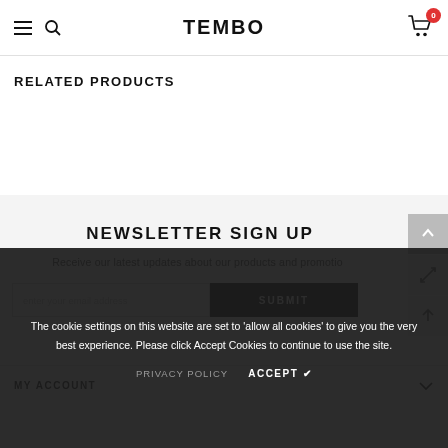TEMBO
RELATED PRODUCTS
NEWSLETTER SIGN UP
Receive our latest updates about our products and promotions.
enter your email address
SUBMIT
MY ACCOUNT
The cookie settings on this website are set to 'allow all cookies' to give you the very best experience. Please click Accept Cookies to continue to use the site.
PRIVACY POLICY   ACCEPT ✔